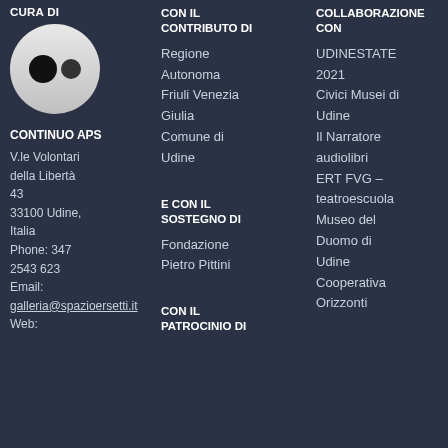[Figure (logo): Flickr-style logo: white/grey circle with two dots (one black, one dark grey)]
CURA DI
CON IL CONTRIBUTO DI
COLLABORAZIONE CON
CONTINUO APS
V.le Volontari della Libertà 43
33100 Udine, Italia
Phone: 347 2543 623
Email: galleria@spazioersetti.it
Web:
Regione Autonoma Friuli Venezia Giulia
Comune di Udine
E CON IL SOSTEGNO DI
Fondazione Pietro Pittini
CON IL PATROCINIO DI
UDINESTATE 2021
Civici Musei di Udine
Il Narratore audiolibri
ERT FVG – teatroescuola
Museo del Duomo di Udine
Cooperativa Orizzonti